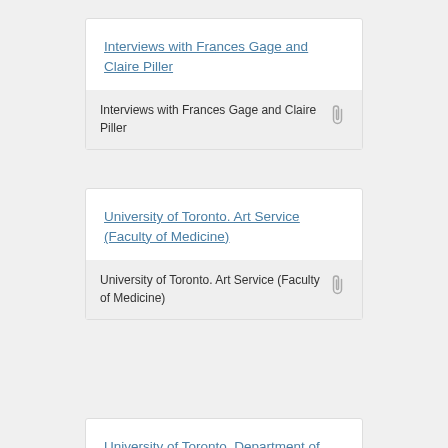Interviews with Frances Gage and Claire Piller
Interviews with Frances Gage and Claire Piller
University of Toronto. Art Service (Faculty of Medicine)
University of Toronto. Art Service (Faculty of Medicine)
University of Toronto. Department of Astronomy and Astrophysics
University of Toronto.